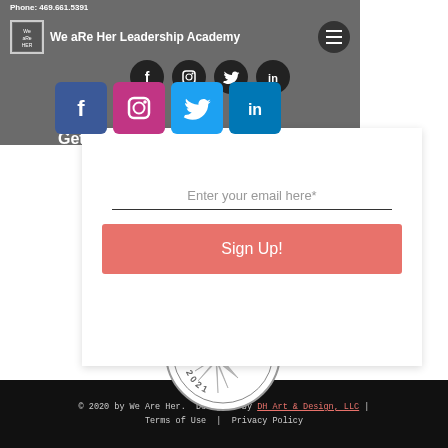Phone: 469.661.5391
We aRe Her Leadership Academy
[Figure (logo): Social media icons: Facebook, Instagram, Twitter, LinkedIn in dark circles and colored squares]
Get Monthly Updates
Enter your email here*
Sign Up!
[Figure (logo): GuideStar Silver Transparency 2021 badge/seal]
© 2020 by We Are Her. Designed by DH Art & Design, LLC | Terms of Use | Privacy Policy